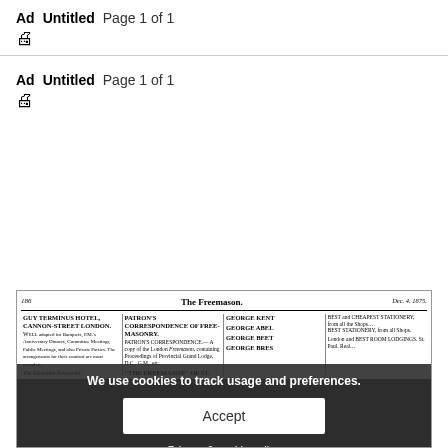Ad   Untitled   Page 1 of 1
Ad   Untitled   Page 1 of 1
[Figure (screenshot): Scanned newspaper page from 'The Freemason', page 186, with a cookie consent overlay reading 'We use cookies to track usage and preferences.' with an Accept button and a Privacy & cookie policy link.]